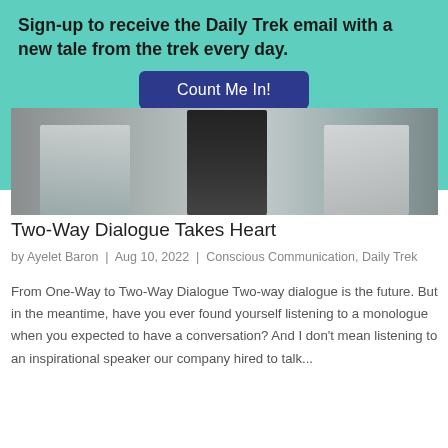Sign-up to receive the Daily Trek email with a new tale from the trek every day.
Count Me In!
[Figure (photo): Three people standing together, cropped at waist/torso level against a wall background]
Two-Way Dialogue Takes Heart
by Ayelet Baron | Aug 10, 2022 | Conscious Communication, Daily Trek
From One-Way to Two-Way Dialogue Two-way dialogue is the future. But in the meantime, have you ever found yourself listening to a monologue when you expected to have a conversation? And I don't mean listening to an inspirational speaker our company hired to talk...